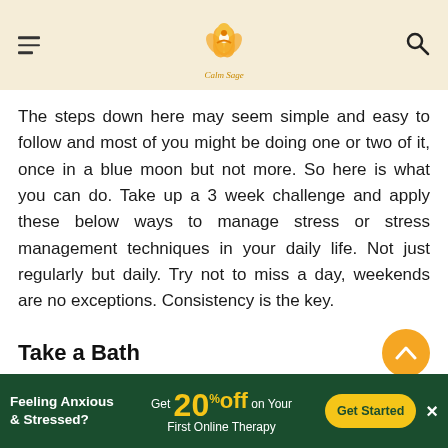Calm Sage
The steps down here may seem simple and easy to follow and most of you might be doing one or two of it, once in a blue moon but not more. So here is what you can do. Take up a 3 week challenge and apply these below ways to manage stress or stress management techniques in your daily life. Not just regularly but daily. Try not to miss a day, weekends are no exceptions. Consistency is the key.
Take a Bath
Feeling Anxious & Stressed? Get 20% Off on Your First Online Therapy Get Started